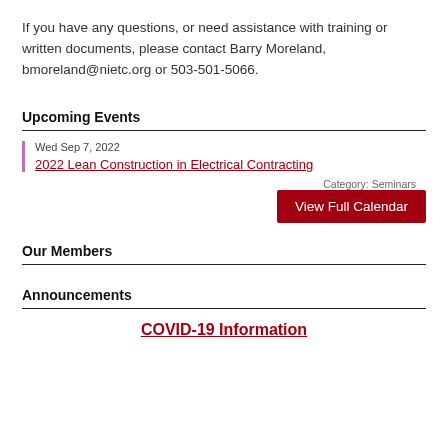If you have any questions, or need assistance with training or written documents, please contact Barry Moreland, bmoreland@nietc.org or 503-501-5066.
Upcoming Events
Wed Sep 7, 2022
2022 Lean Construction in Electrical Contracting
Category: Seminars
View Full Calendar
Our Members
Announcements
COVID-19 Information